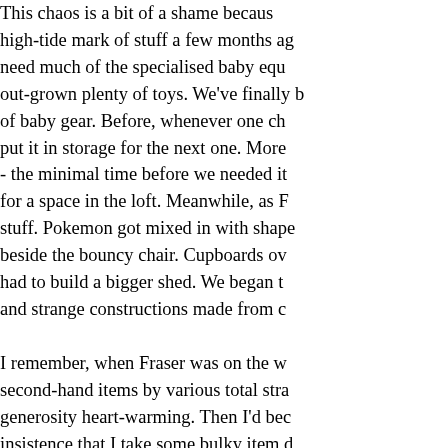This chaos is a bit of a shame because high-tide mark of stuff a few months ago need much of the specialised baby equ out-grown plenty of toys. We've finally b of baby gear. Before, whenever one ch put it in storage for the next one. More - the minimal time before we needed it for a space in the loft. Meanwhile, as F stuff. Pokemon got mixed in with shape beside the bouncy chair. Cupboards ov had to build a bigger shed. We began t and strange constructions made from c
I remember, when Fraser was on the w second-hand items by various total stra generosity heart-warming. Then I'd bec insistence that I take some bulky item d paraphernalia. By the time they'd dragg piling my arms with junk, I was usually always fairly easy to sneak away as the drawers and tipping the contents into b
Now I'm one of those people.
We packaged up lots of baby stuff rece